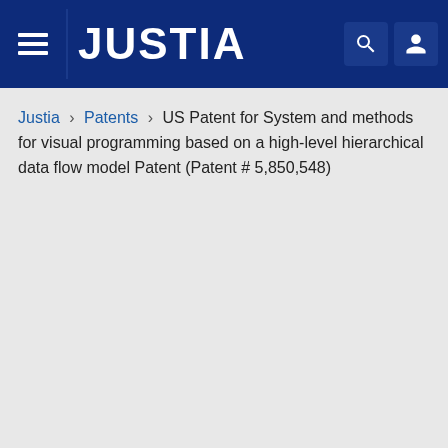JUSTIA
Justia › Patents › US Patent for System and methods for visual programming based on a high-level hierarchical data flow model Patent (Patent # 5,850,548)